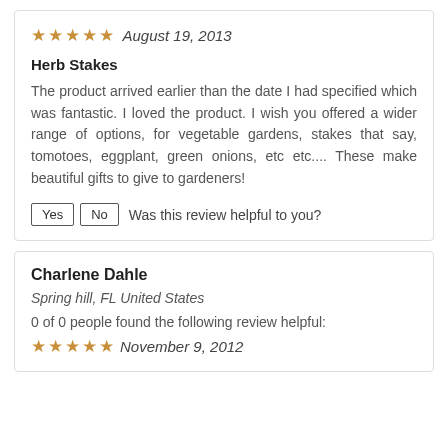★★★★★ August 19, 2013
Herb Stakes
The product arrived earlier than the date I had specified which was fantastic. I loved the product. I wish you offered a wider range of options, for vegetable gardens, stakes that say, tomotoes, eggplant, green onions, etc etc.... These make beautiful gifts to give to gardeners!
Yes  No  Was this review helpful to you?
Charlene Dahle
Spring hill, FL United States
0 of 0 people found the following review helpful:
★★★★★ November 9, 2012